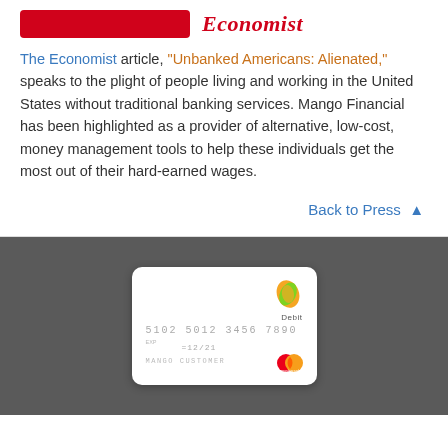The Economist article, "Unbanked Americans: Alienated," speaks to the plight of people living and working in the United States without traditional banking services. Mango Financial has been highlighted as a provider of alternative, low-cost, money management tools to help these individuals get the most out of their hard-earned wages.
Back to Press ▲
[Figure (photo): Mango Financial debit card (white card with Mango leaf logo, card number 5102 5012 3456 7890, expiry 12/21, MANGO CUSTOMER, Mastercard logo) displayed against a dark grey background]